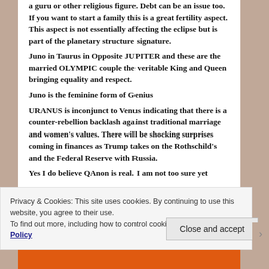a guru or other religious figure. Debt can be an issue too. If you want to start a family this is a great fertility aspect. This aspect is not essentially affecting the eclipse but is part of the planetary structure signature.
Juno in Taurus in Opposite JUPITER and these are the married OLYMPIC couple the veritable King and Queen bringing equality and respect.
Juno is the feminine form of Genius
URANUS is inconjunct to Venus indicating that there is a counter-rebellion backlash against traditional marriage and women's values. There will be shocking surprises coming in finances as Trump takes on the Rothschild's and the Federal Reserve with Russia.
Yes I do believe QAnon is real. I am not too sure yet...
Privacy & Cookies: This site uses cookies. By continuing to use this website, you agree to their use.
To find out more, including how to control cookies, see here: Cookie Policy